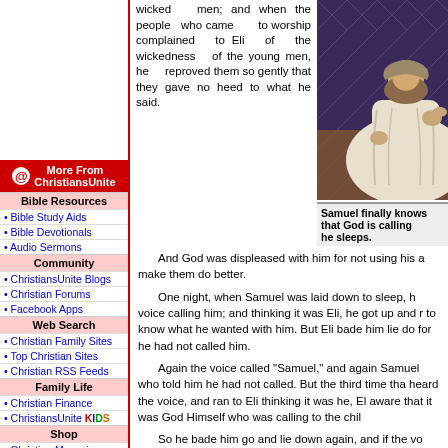wicked men; and when the people who came to worship complained to Eli of the wickedness of the young men, he reproved them so gently that they gave no heed to what he said.
[Figure (illustration): Painting of a robed biblical figure (Samuel) seated, in classical style with earth tones and decorative background.]
Samuel finally knows that God is calling him as he sleeps.
More From ChristiansUnite
Bible Resources
Bible Study Aids
Bible Devotionals
Audio Sermons
Community
ChristiansUnite Blogs
Christian Forums
Facebook Apps
Web Search
Christian Family Sites
Top Christian Sites
Christian RSS Feeds
Family Life
Christian Finance
ChristiansUnite KIDS
Shop
Christian Magazines
Christian Book Store
Read
Christian News
Christian Columns
And God was displeased with him for not using his authority to make them do better.
One night, when Samuel was laid down to sleep, he heard a voice calling him; and thinking it was Eli, he got up and ran to Eli to know what he wanted with him. But Eli bade him lie down again, for he had not called him.
Again the voice called "Samuel," and again Samuel ran to Eli, who told him he had not called. But the third time that Samuel heard the voice, and ran to Eli thinking it was he, Eli became aware that it was God Himself who was calling to the chil...
So he bade him go and lie down again, and if the voice called him once more, to answer, "Speak, Lord, for thy servant heareth." Then, when he was laid down again, the voice called a third time, "Samuel, Samuel."